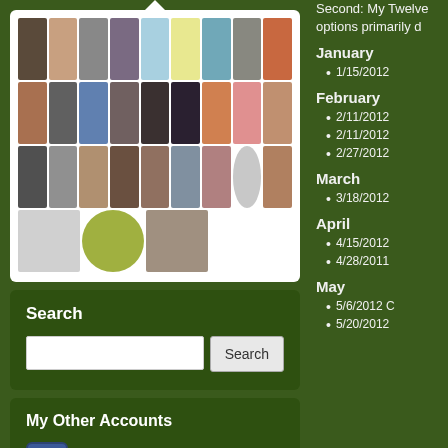[Figure (photo): Grid of follower profile photos/avatars in a white rounded box]
Search
Search input field with Search button
My Other Accounts
Facebook | 1532221391&ref=profile
Google Plus | https://plus.google.com/11640080554454283975
Twitter | jillconyers
Second: My Twelve options primarily d
January
1/15/2012
February
2/11/2012
2/11/2012
2/27/2012
March
3/18/2012
April
4/15/2012
4/28/2011
May
5/6/2012
5/20/2012